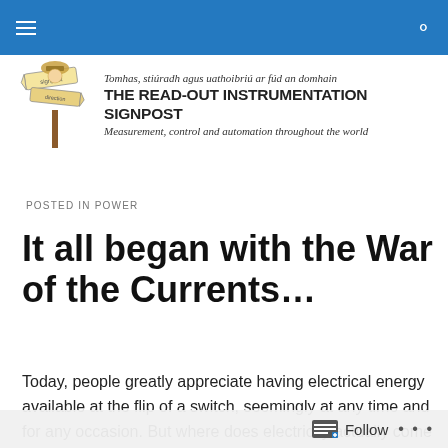Navigation bar with hamburger menu and search icon
[Figure (logo): The Read-Out Instrumentation Signpost logo with signpost illustration and text in Irish and English]
POSTED IN POWER
It all began with the War of the Currents…
Today, people greatly appreciate having electrical energy available at the flip of a switch, seemingly at any time and for any occasion. But where does electricity actually come
Follow